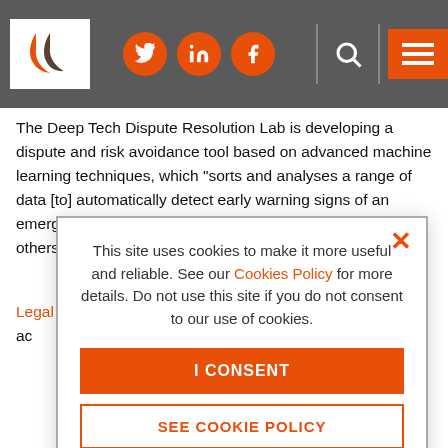Header navigation bar with logo, social icons (Twitter, LinkedIn, Facebook), search and menu
The Deep Tech Dispute Resolution Lab is developing a dispute and risk avoidance tool based on advanced machine learning techniques, which “sorts and analyses a range of data [to] automatically detect early warning signs of an emerging dispute or issue with customers, suppliers and/or others”.
Legal Utopia aims to make legal services “affordable and ac[cessible” re[...]  in[...] as[...]
Th[...] re[...] ot[...]
La[...] g[...]
[Figure (screenshot): Cookie consent modal overlay: 'This site uses cookies to make it more useful and reliable. See our Cookies Policy for more details. Do not use this site if you do not consent to our use of cookies.' with 'I CONSENT' and 'SEE COOKIE POLICY' buttons]